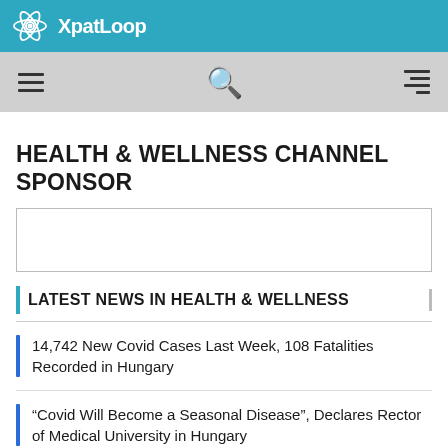XpatLoop
[Figure (screenshot): Navigation bar with hamburger menu, search icon, and lines icon on gray background]
HEALTH & WELLNESS CHANNEL SPONSOR
[Figure (other): Empty sponsor advertisement box with border]
LATEST NEWS IN HEALTH & WELLNESS
14,742 New Covid Cases Last Week, 108 Fatalities Recorded in Hungary
“Covid Will Become a Seasonal Disease”, Declares Rector of Medical University in Hungary